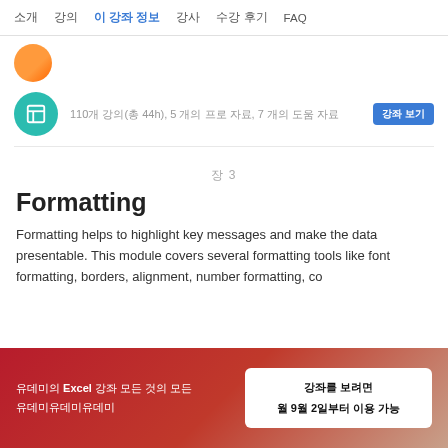소개   강의   이 강좌 정보   강사   수강 후기   FAQ
[Figure (illustration): Orange circle icon (partial) and teal circular icon with book symbol]
110개 강의(총 44h), 5 개의 프로 자료, 7 개의 도움 자료   강좌 보기
장 3
Formatting
Formatting helps to highlight key messages and make the data presentable. This module covers several formatting tools like font formatting, borders, alignment, number formatting, co